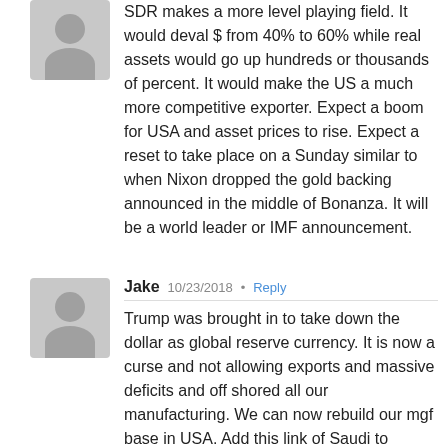SDR makes a more level playing field. It would deval $ from 40% to 60% while real assets would go up hundreds or thousands of percent. It would make the US a much more competitive exporter. Expect a boom for USA and asset prices to rise. Expect a reset to take place on a Sunday similar to when Nixon dropped the gold backing announced in the middle of Bonanza. It will be a world leader or IMF announcement.
Jake  10/23/2018  Reply
Trump was brought in to take down the dollar as global reserve currency. It is now a curse and not allowing exports and massive deficits and off shored all our manufacturing. We can now rebuild our mgf base in USA. Add this link of Saudi to eventually asset-peg for oil